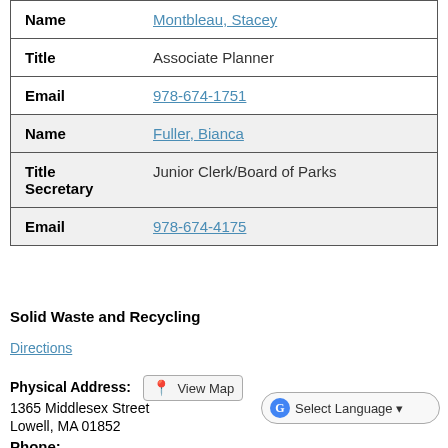| Field | Value |
| --- | --- |
| Name | Montbleau, Stacey |
| Title | Associate Planner |
| Email | 978-674-1751 |
| Name | Fuller, Bianca |
| Title | Junior Clerk/Board of Parks Secretary |
| Email | 978-674-4175 |
Solid Waste and Recycling
Directions
Physical Address: View Map
1365 Middlesex Street
Lowell, MA 01852
Phone: